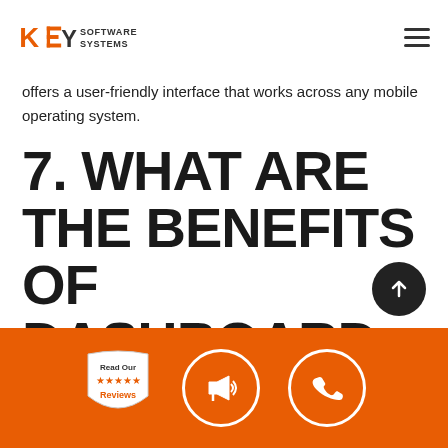KEY SOFTWARE SYSTEMS
offers a user-friendly interface that works across any mobile operating system.
7. WHAT ARE THE BENEFITS OF DASHBOARD REPORTING?
The key benefits of dashboard reporting include:
Read Our Reviews | Megaphone icon | Phone icon